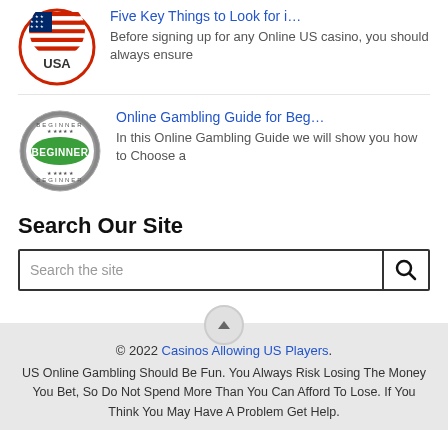[Figure (illustration): USA flag circular badge with red and white striped flag and stars, bordered in red with 'USA' text below]
Five Key Things to Look for i…
Before signing up for any Online US casino, you should always ensure
[Figure (illustration): BEGINNER stamp/badge in green and grey with text 'BEGINNER' repeated]
Online Gambling Guide for Beg…
In this Online Gambling Guide we will show you how to Choose a
Search Our Site
Search the site
© 2022 Casinos Allowing US Players.
US Online Gambling Should Be Fun. You Always Risk Losing The Money You Bet, So Do Not Spend More Than You Can Afford To Lose. If You Think You May Have A Problem Get Help.